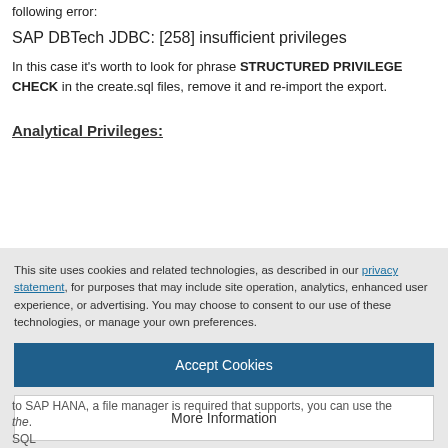following error:
SAP DBTech JDBC: [258] insufficient privileges
In this case it's worth to look for phrase STRUCTURED PRIVILEGE CHECK in the create.sql files, remove it and re-import the export.
Analytical Privileges:
This site uses cookies and related technologies, as described in our privacy statement, for purposes that may include site operation, analytics, enhanced user experience, or advertising. You may choose to consent to our use of these technologies, or manage your own preferences.
Accept Cookies
More Information
Privacy Policy | Powered by: TrustArc